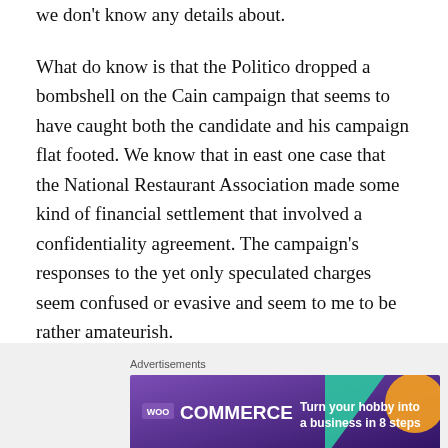we don't know any details about.
What do know is that the Politico dropped a bombshell on the Cain campaign that seems to have caught both the candidate and his campaign flat footed. We know that in east one case that the National Restaurant Association made some kind of financial settlement that involved a confidentiality agreement. The campaign's responses to the yet only speculated charges seem confused or evasive and seem to me to be rather amateurish.
Advertisements
[Figure (other): WooCommerce advertisement banner: purple background with teal triangle and orange circle decoration. Text reads 'WOO COMMERCE Turn your hobby into a business in 8 steps']
REPORT THIS AD
Advertisements
[Figure (other): Seamless food delivery advertisement banner: dark background with pizza image on left, red Seamless logo, and 'ORDER NOW' button with border]